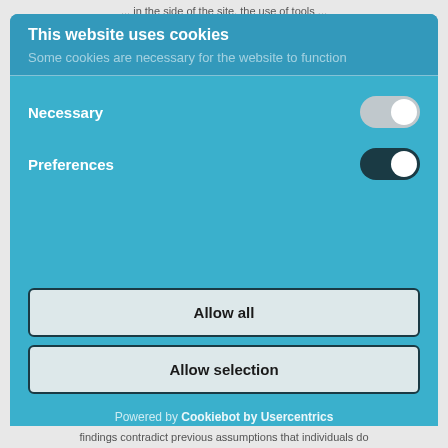...in the side of the site, the use of tools...
This website uses cookies
Some cookies are necessary for the website to function
Necessary
Preferences
Allow all
Allow selection
Powered by Cookiebot by Usercentrics
findings contradict previous assumptions that individuals do